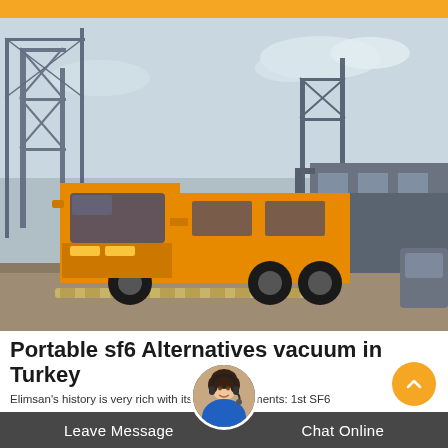[Figure (photo): Orange truck parked in an industrial area with large metal structures and a grey building in the background. Dirt/gravel ground with a speed bump visible.]
Portable sf6 Alternatives vacuum in Turkey
Elimsan's history is very rich with its accomplishments: 1st SF6
Leave Message   Chat Online